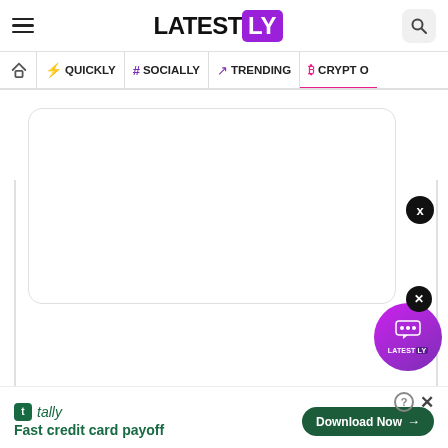LATEST LY — hamburger menu and search icon
Navigation: Home | QUICKLY | # SOCIALLY | TRENDING | CRYPTO
[Figure (screenshot): Advertisement card area — blank white rounded rectangle card]
[Figure (screenshot): Latestly floating button with robot/chat icon and LATEST LY branding]
[Figure (screenshot): Tally app advertisement banner at bottom: Fast credit card payoff, Download Now button]